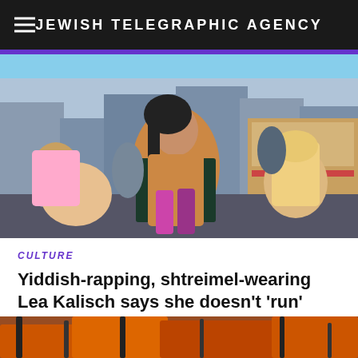JEWISH TELEGRAPHIC AGENCY
[Figure (photo): Dancers performing in Times Square, with a woman in colorful outfit in the center foreground crouching, and other dancers around her.]
CULTURE
Yiddish-rapping, shtreimel-wearing Lea Kalisch says she doesn’t ‘run’ toward controversy
[Figure (photo): Partial view of another article image at the bottom of the page.]